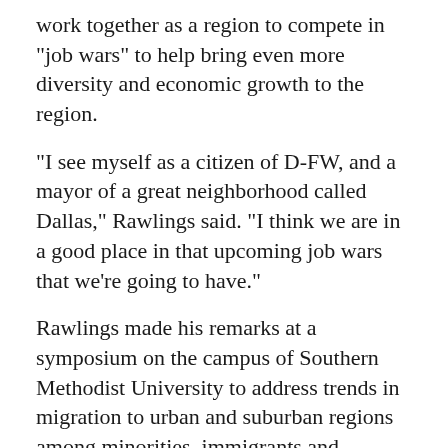work together as a region to compete in "job wars" to help bring even more diversity and economic growth to the region.
"I see myself as a citizen of D-FW, and a mayor of a great neighborhood called Dallas," Rawlings said. "I think we are in a good place in that upcoming job wars that we're going to have."
Rawlings made his remarks at a symposium on the campus of Southern Methodist University to address trends in migration to urban and suburban regions among minorities, immigrants and millennials. It was hosted by the SMU Cox School of School Business Folsom Center for Real Estate, the SMU Economic Center and Houston's Center for Opportunity Urbanism. . . .
North Texas is the third-most diverse metropolitan area in the U.S. behind New York and Houston. That's being driven, in part, by foreign-born residents. Many of the...